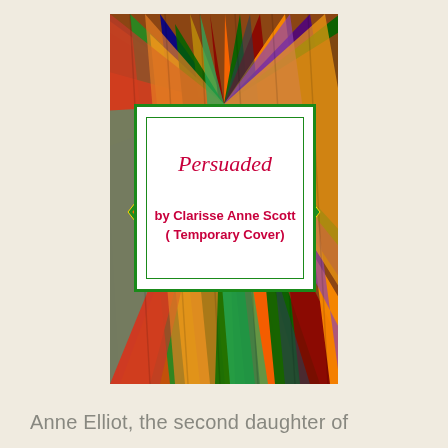[Figure (illustration): Book cover for 'Persuaded' by Clarisse Anne Scott with a colorful radial wood plank background in red, orange, green, blue, yellow, purple colors, and a white rectangular box in the center with a double green border containing the book title in red italic script and the author name in bold red text with '(Temporary Cover)' note.]
Anne Elliot, the second daughter of